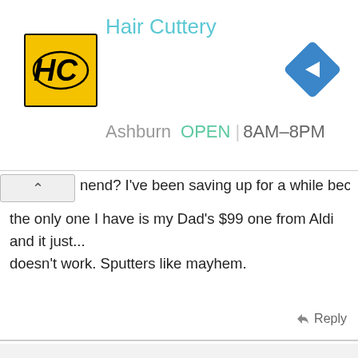[Figure (screenshot): Hair Cuttery advertisement banner showing logo, business name, location (Ashburn), hours (OPEN 8AM-8PM), and a navigation arrow icon]
nend? I've been saving up for a while because currently the only one I have is my Dad's $99 one from Aldi and it just... doesn't work. Sputters like mayhem.
Reply
Callianis
Member
Aug 9, 2020
#18
If you mean the Workzone airbrush, this is a common rebranded model and I have the Ozito one. The problem is that it has no air tank to store the air, and the compressor is constantly running. This generates heat which in turn causes water to condense in your hair hose, hence the sputtering water coming out of the airbrush. The water trap at the compressor end can't keep up...